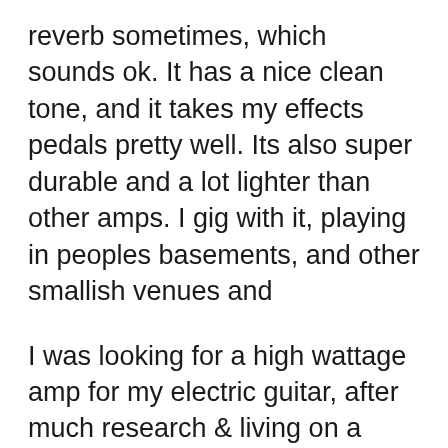reverb sometimes, which sounds ok. It has a nice clean tone, and it takes my effects pedals pretty well. Its also super durable and a lot lighter than other amps. I gig with it, playing in peoples basements, and other smallish venues and
I was looking for a high wattage amp for my electric guitar, after much research & living on a budget I bought a fender champion 100 watt amp from guitar guitar, I was absolutely over the moon with this amp it just works for you in every way, & with a very reasonable price tag, it ... 04/01/2018 · Fender Champion 100 Solid state 2X12 combo amp Fender Champion 100XL Combo